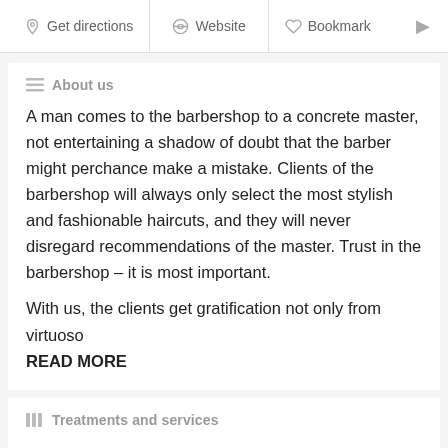Get directions  Website  Bookmark
About us
A man comes to the barbershop to a concrete master, not entertaining a shadow of doubt that the barber might perchance make a mistake. Clients of the barbershop will always only select the most stylish and fashionable haircuts, and they will never disregard recommendations of the master. Trust in the barbershop – it is most important.
With us, the clients get gratification not only from virtuoso READ MORE
Treatments and services
Hair   Beard Trimming & Shaving
Me  ENGLISH